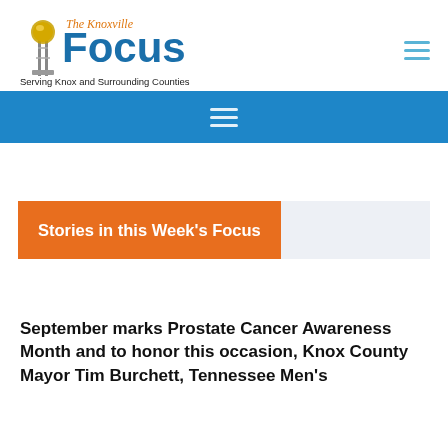[Figure (logo): The Knoxville Focus newspaper logo with Sunsphere tower icon, blue bold 'Focus' text, orange italic 'The Knoxville' above, tagline 'Serving Knox and Surrounding Counties']
Stories in this Week's Focus
September marks Prostate Cancer Awareness Month and to honor this occasion, Knox County Mayor Tim Burchett, Tennessee Men's